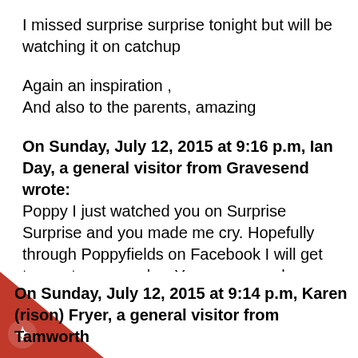I missed surprise surprise tonight but will be watching it on catchup
Again an inspiration ,
And also to the parents, amazing
On Sunday, July 12, 2015 at 9:16 p.m, Ian Day, a general visitor from Gravesend wrote:
Poppy I just watched you on Surprise Surprise and you made me cry. Hopefully through Poppyfields on Facebook I will get to meet you one day. You are a very brave and inspirational young lady.
God bless you. xx
On Sunday, July 12, 2015 at 9:14 p.m, Karen (rison) Fryer, a general visitor from Tamworth